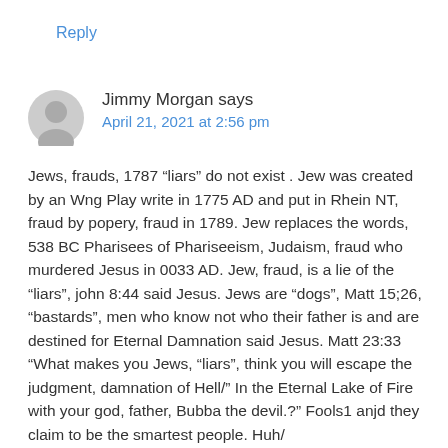Reply
Jimmy Morgan says
April 21, 2021 at 2:56 pm
Jews, frauds, 1787 “liars” do not exist . Jew was created by an Wng Play write in 1775 AD and put in Rhein NT, fraud by popery, fraud in 1789. Jew replaces the words, 538 BC Pharisees of Phariseeism, Judaism, fraud who murdered Jesus in 0033 AD. Jew, fraud, is a lie of the “liars”, john 8:44 said Jesus. Jews are “dogs”, Matt 15;26, “bastards”, men who know not who their father is and are destined for Eternal Damnation said Jesus. Matt 23:33 “What makes you Jews, “liars”, think you will escape the judgment, damnation of Hell/” In the Eternal Lake of Fire with your god, father, Bubba the devil.?” Fools1 anjd they claim to be the smartest people. Huh/